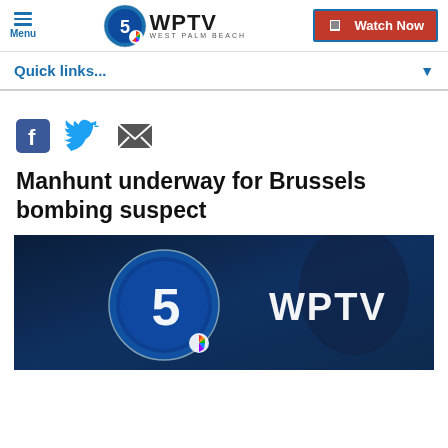Menu | WPTV WEST PALM BEACH | Watch Now
Quick links...
[Figure (other): Social share icons: Facebook, Twitter, Email]
Manhunt underway for Brussels bombing suspect
[Figure (logo): WPTV Channel 5 West Palm Beach logo on dark blue background]